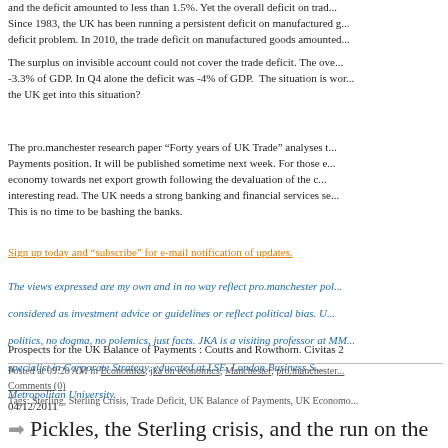and the deficit amounted to less than 1.5%. Yet the overall deficit on trade... Since 1983, the UK has been running a persistent deficit on manufactured g... deficit problem. In 2010, the trade deficit on manufactured goods amounted...
The surplus on invisible account could not cover the trade deficit. The ove... -3.3% of GDP. In Q4 alone the deficit was -4% of GDP. The situation is wor... the UK get into this situation?
The pro.manchester research paper “Forty years of UK Trade” analyses t... Payments position. It will be published sometime next week. For those e... economy towards net export growth following the devaluation of the c... interesting read. The UK needs a strong banking and financial services se... This is no time to be bashing the banks.
Sign up today and “subscribe” for e-mail notification of updates.
The views expressed are my own and in no way reflect pro.manchester pol... considered as investment advice or guidelines or reflect political bias. U... politics, no dogma, no polemics, just facts. JKA is a visiting professor at MM... specialist in Corporate Strategy, educated at LSE, London Business S... Metropolitan University.
Prospects for the UK Balance of Payments : Coutts and Rowthorn. Civitas 2
Posted at 09:28 AM in Economics, jka on economics, Manchester, pro.manchester... Comments (0)
Tags: Sterling, Sterling Crisis, Trade Deficit, UK Balance of Payments, UK Economo...
04/12/2011
Pickles, the Sterling crisis, and the run on the